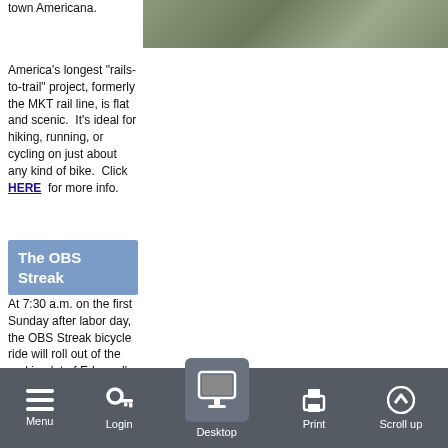town Americana.
[Figure (photo): Outdoor trail or path photo, partially visible at top right of page]
America's longest "rails-to-trail" project, formerly the MKT rail line, is flat and scenic.  It's ideal for hiking, running, or cycling on just about any kind of bike.  Click HERE for more info.
The OBS Streak
At 7:30 a.m. on the first Sunday after labor day, the OBS Streak bicycle ride will roll out of the parking lot of Edmond's Mitch Park, marking the 43rd year the Oklahoma Bicycle Society has held
Menu  Login  Desktop  Print  Scroll up